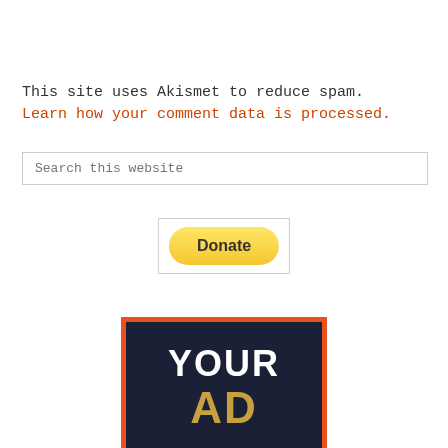This site uses Akismet to reduce spam. Learn how your comment data is processed.
Search this website
[Figure (other): PayPal Donate button with yellow rounded rectangle styling]
[Figure (illustration): Advertisement placeholder graphic with orange border, dark navy background, text reading YOUR AD]